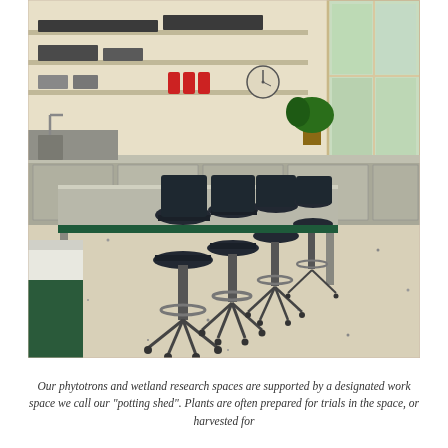[Figure (photo): Interior of a laboratory 'potting shed' workspace showing a long stainless steel bench/table in the center with four black adjustable lab stools lined up along it. Behind the bench are stainless steel cabinets and shelving units with trays, red spray bottles, a wall clock, and potted plants near a multi-pane window. The floor is speckled light-colored epoxy. A white bin is visible on the left foreground.]
Our phytotrons and wetland research spaces are supported by a designated work space we call our "potting shed". Plants are often prepared for trials in the space, or harvested for